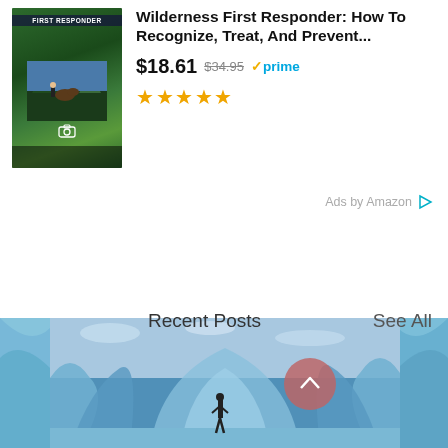[Figure (photo): Book cover for Wilderness First Responder, green forest background with person/dog]
Wilderness First Responder: How To Recognize, Treat, And Prevent...
$18.61  $34.95  ✓prime
★★★★★
Ads by Amazon ▷
[Figure (infographic): Social share icons: Facebook, Twitter, LinkedIn, Link]
27
Recent Posts
See All
[Figure (photo): Ice cave/glacier landscape with person standing, blue tones. Back-to-top circular button visible.]